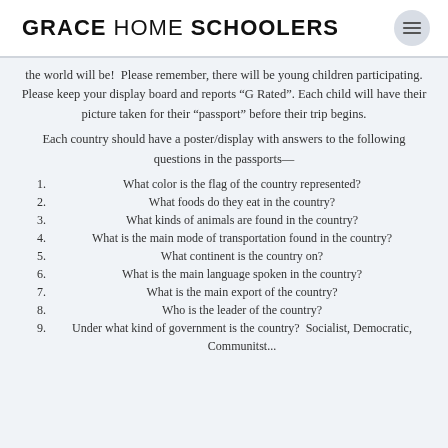GRACE HOME SCHOOLERS
the world will be!  Please remember, there will be young children participating. Please keep your display board and reports “G Rated”. Each child will have their picture taken for their “passport” before their trip begins.
Each country should have a poster/display with answers to the following questions in the passports—
1. What color is the flag of the country represented?
2. What foods do they eat in the country?
3. What kinds of animals are found in the country?
4. What is the main mode of transportation found in the country?
5. What continent is the country on?
6. What is the main language spoken in the country?
7. What is the main export of the country?
8. Who is the leader of the country?
9. Under what kind of government is the country?  Socialist, Democratic, Communitst...